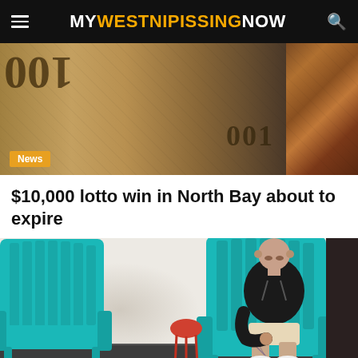MY WEST NIPISSING NOW
[Figure (photo): Close-up photo of Canadian $100 bills, some face-down showing '001' text, against a striped background on the right side. A 'News' badge is overlaid at the bottom left.]
$10,000 lotto win in North Bay about to expire
[Figure (photo): A tattooed bald man wearing a black hoodie and shorts sits in a teal Adirondack chair against a white wall. Another teal chair is visible in the foreground left. A small red side table is in the background. A 'News' badge is overlaid at the bottom left.]